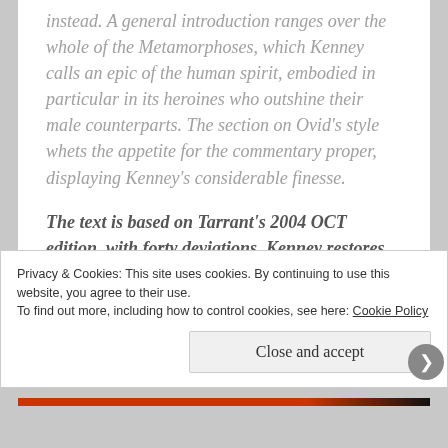instead. A general introduction ranges over the whole of the Metamorphoses, which Kenney calls an epic of the human spirit, embodied in particular in its heroines who outshine their male counterparts. The section on Ovid's style whets the appetite for the commentary proper, displaying Kenney's considerable finesse.
The text is based on Tarrant's 2004 OCT edition, with forty deviations. Kenney restores lines expunged by Tarrant (7.522.
Privacy & Cookies: This site uses cookies. By continuing to use this website, you agree to their use. To find out more, including how to control cookies, see here: Cookie Policy